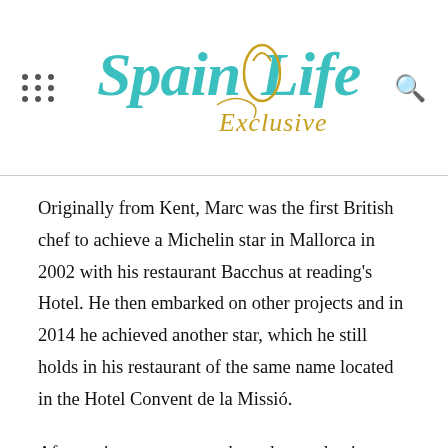[Figure (logo): Spain Life Exclusive logo with teal and gold typography]
Originally from Kent, Marc was the first British chef to achieve a Michelin star in Mallorca in 2002 with his restaurant Bacchus at reading's Hotel. He then embarked on other projects and in 2014 he achieved another star, which he still holds in his restaurant of the same name located in the Hotel Convent de la Missió.
After an impasse to see where the pandemic situation was going to go, and seeing that the near future was uncertain, he launched his delivery service FoshFood@Home.
In 1981 Marc Fosh's culinary journey began in London, working at The Greenhouse and then at the Michelin-starred Chelsea Room (Carlton Tower Hotel). From then on his goal